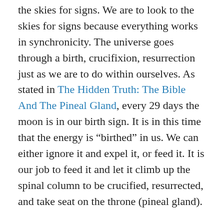the skies for signs. We are to look to the skies for signs because everything works in synchronicity. The universe goes through a birth, crucifixion, resurrection just as we are to do within ourselves. As stated in The Hidden Truth: The Bible And The Pineal Gland, every 29 days the moon is in our birth sign. It is in this time that the energy is “birthed” in us. We can either ignore it and expel it, or feed it. It is our job to feed it and let it climb up the spinal column to be crucified, resurrected, and take seat on the throne (pineal gland).
If you take the information above and read the rest of the Bible in the same manner, you will see that this is what’s being stated. If you have not already done so, I recommend you also read ‘The Way’ series (linked above) and the first two posts of this series (also linked above) for background information to that which I provided here.